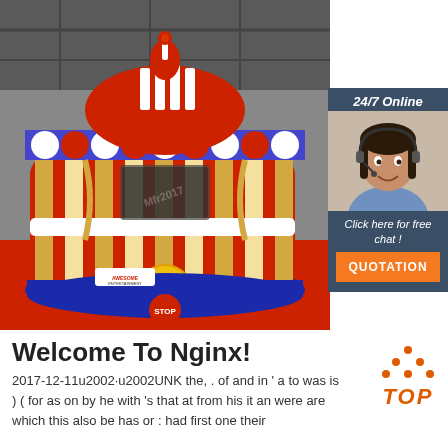[Figure (photo): Inflatable bounce castle with circus/carnival design — red, white, blue and gold stripes, with a dome top decorated in red and white stripes and scalloped awning. Branding reads 'Awesome Entertainment'. Located indoors on a red floor mat.]
[Figure (photo): Customer service agent woman with headset, smiling, with dark hair, wearing a light blue shirt. Overlaid on dark blue-grey sidebar panel. Sidebar shows '24/7 Online', 'Click here for free chat!', and an orange 'QUOTATION' button.]
Welcome To Nginx!
2017-12-11u2002·u2002UNK the, . of and in ' a to was is ) ( for as on by he with 's that at from his it an were are which this also be has or : had first one their
[Figure (other): Orange 'TOP' button with upward-pointing triangle/arrow icon above the word TOP in italic orange text.]